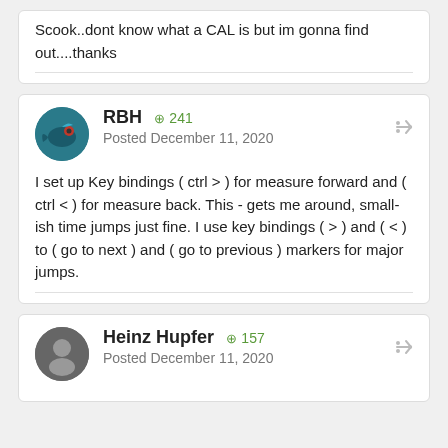Scook..dont know what a CAL is but im gonna find out....thanks
RBH  +241
Posted December 11, 2020
I set up Key bindings ( ctrl > )  for measure forward  and ( ctrl <  )  for measure back.  This - gets me around,  small-ish time jumps just fine. I use key bindings ( > ) and ( < )  to ( go to next )  and  ( go to previous  ) markers for major jumps.
Heinz Hupfer  +157
Posted December 11, 2020